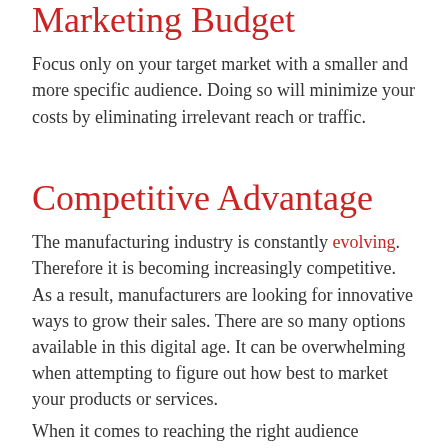Marketing Budget
Focus only on your target market with a smaller and more specific audience. Doing so will minimize your costs by eliminating irrelevant reach or traffic.
Competitive Advantage
The manufacturing industry is constantly evolving. Therefore it is becoming increasingly competitive. As a result, manufacturers are looking for innovative ways to grow their sales. There are so many options available in this digital age. It can be overwhelming when attempting to figure out how best to market your products or services.
When it comes to reaching the right audience